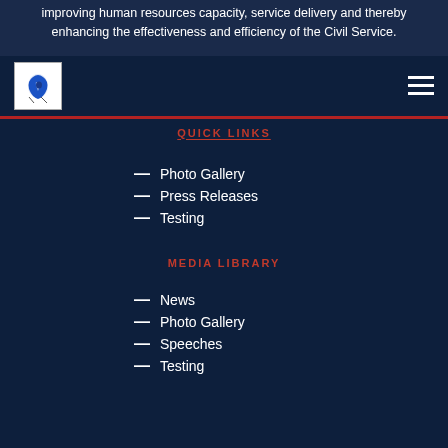improving human resources capacity, service delivery and thereby enhancing the effectiveness and efficiency of the Civil Service.
[Figure (logo): Government civil service logo — white box with blue map/figure icon]
QUICK LINKS
Photo Gallery
Press Releases
Testing
MEDIA LIBRARY
News
Photo Gallery
Speeches
Testing